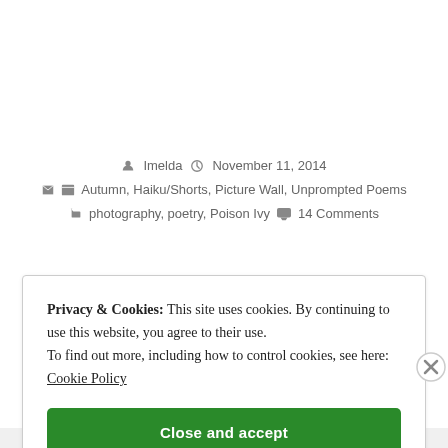Imelda   November 11, 2014
Autumn, Haiku/Shorts, Picture Wall, Unprompted Poems
photography, poetry, Poison Ivy   14 Comments
Privacy & Cookies: This site uses cookies. By continuing to use this website, you agree to their use. To find out more, including how to control cookies, see here: Cookie Policy
Close and accept